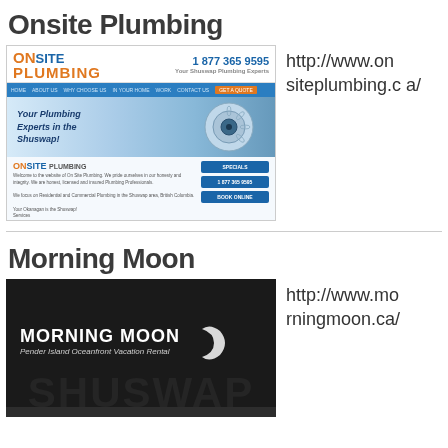Onsite Plumbing
[Figure (screenshot): Screenshot of Onsite Plumbing website showing logo, phone number 1 877 365 9595, blue navigation bar, hero image with drain and text 'Your Plumbing Experts in the Shuswap!', and body content with buttons SPECIALS, 1 877 365 9595, BOOK ONLINE]
http://www.onsiteplumbing.ca/
Morning Moon
[Figure (screenshot): Screenshot of Morning Moon website with dark background showing logo 'MORNING MOON' with crescent moon icon, subtitle 'Pender Island Oceanfront Vacation Rental', and navigation bar with items 'A TREATMENTS', 'AVAILABILITY AND RATES', 'PENDER']
http://www.morningmoon.ca/